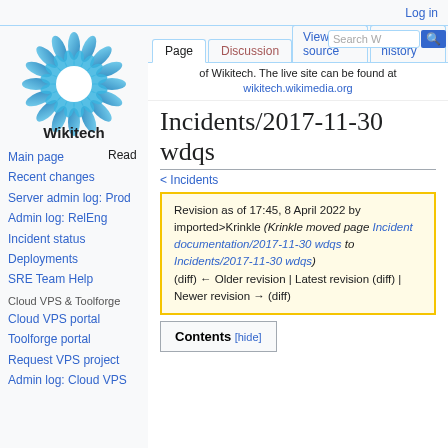Log in
[Figure (logo): Wikitech logo: blue/cyan sunflower-like circular icon above the text 'Wikitech']
Main page
Recent changes
Server admin log: Prod
Admin log: RelEng
Incident status
Deployments
SRE Team Help
Cloud VPS & Toolforge
Cloud VPS portal
Toolforge portal
Request VPS project
Admin log: Cloud VPS
of Wikitech. The live site can be found at wikitech.wikimedia.org
Incidents/2017-11-30 wdqs
< Incidents
Revision as of 17:45, 8 April 2022 by imported>Krinkle (Krinkle moved page Incident documentation/2017-11-30 wdqs to Incidents/2017-11-30 wdqs)
(diff) ← Older revision | Latest revision (diff) | Newer revision → (diff)
Contents [hide]